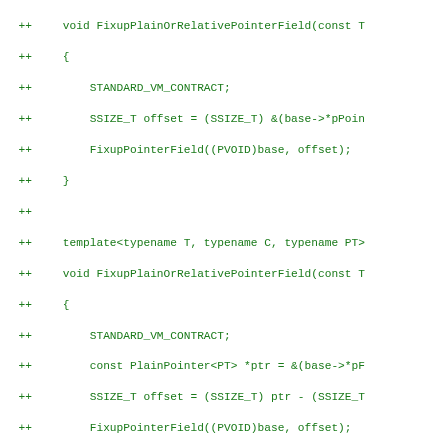Code diff showing C++ template functions: FixupPlainOrRelativePointerField, FixupField, FixupPlainOrRelativeField with STANDARD_VM_CONTRACT, SSIZE_T offset, and FixupPointerField/FixupField calls.